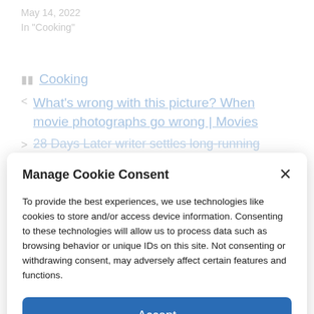May 14, 2022
In "Cooking"
Cooking
< What's wrong with this picture? When movie photographs go wrong | Movies
> 28 Days Later writer settles long-running...
Manage Cookie Consent
To provide the best experiences, we use technologies like cookies to store and/or access device information. Consenting to these technologies will allow us to process data such as browsing behavior or unique IDs on this site. Not consenting or withdrawing consent, may adversely affect certain features and functions.
Accept
Cookie Policy